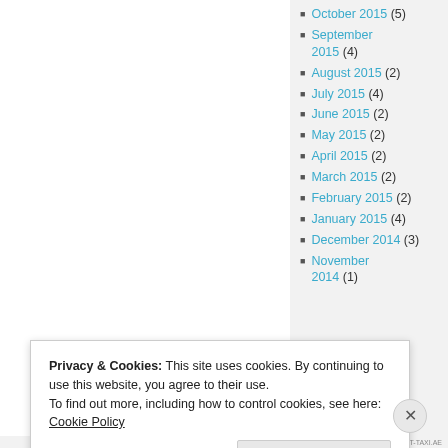October 2015 (5)
September 2015 (4)
August 2015 (2)
July 2015 (4)
June 2015 (2)
May 2015 (2)
April 2015 (2)
March 2015 (2)
February 2015 (2)
January 2015 (4)
December 2014 (3)
November 2014 (1)
Privacy & Cookies: This site uses cookies. By continuing to use this website, you agree to their use. To find out more, including how to control cookies, see here: Cookie Policy
Close and accept